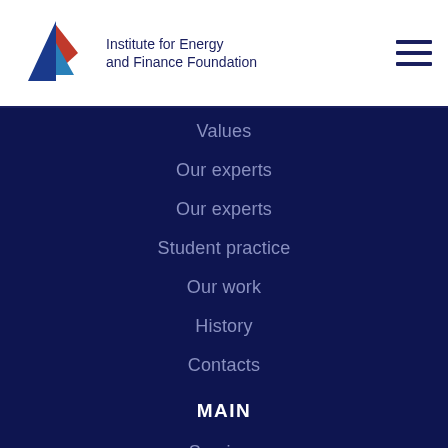[Figure (logo): Institute for Energy and Finance Foundation logo with sailboat icon and text]
Values
Our experts
Our experts
Student practice
Our work
History
Contacts
MAIN
Services
Research